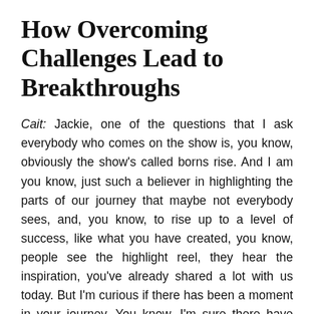How Overcoming Challenges Lead to Breakthroughs
Cait: Jackie, one of the questions that I ask everybody who comes on the show is, you know, obviously the show's called borns rise. And I am you know, just such a believer in highlighting the parts of our journey that maybe not everybody sees, and, you know, to rise up to a level of success, like what you have created, you know, people see the highlight reel, they hear the inspiration, you've already shared a lot with us today. But I'm curious if there has been a moment in your journey. You know, I'm sure there have been more than one. But if there's a moment that really stands out for you, that was a challenge that really brought you away, that that was the breakthrough